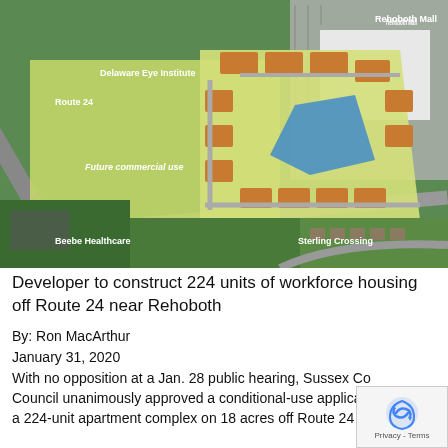[Figure (map): Aerial/satellite map view showing a planned apartment development off Route 24 near Rehoboth. Labels visible: Route 24, Delaware Eye Institute, Rehoboth Mall, Future commercial use, Beebe Healthcare, Sterling Crossing. The development site shows building footprints (orange/tan) arranged around a blue retention pond on a yellow-green parcel.]
Developer to construct 224 units of workforce housing off Route 24 near Rehoboth
By: Ron MacArthur
January 31, 2020
With no opposition at a Jan. 28 public hearing, Sussex Co Council unanimously approved a conditional-use applica a 224-unit apartment complex on 18 acres off Route 24 behind